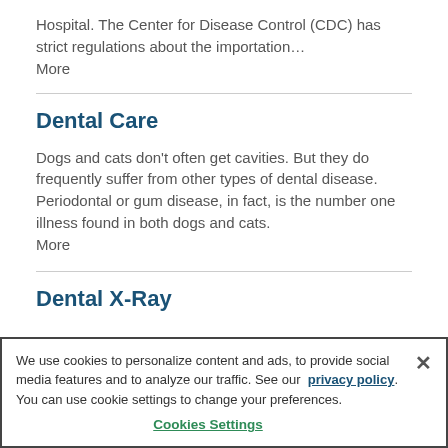Hospital. The Center for Disease Control (CDC) has strict regulations about the importation… More
Dental Care
Dogs and cats don't often get cavities. But they do frequently suffer from other types of dental disease. Periodontal or gum disease, in fact, is the number one illness found in both dogs and cats. More
Dental X-Ray
We use cookies to personalize content and ads, to provide social media features and to analyze our traffic. See our privacy policy. You can use cookie settings to change your preferences.
Cookies Settings